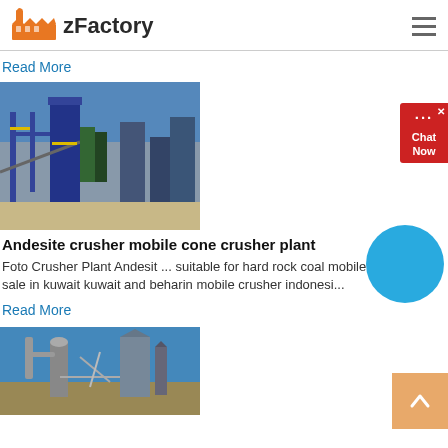zFactory
Read More
[Figure (photo): Industrial crusher plant with blue steel structures, conveyors and silos against a blue sky]
Andesite crusher mobile cone crusher plant
Foto Crusher Plant Andesit ... suitable for hard rock coal mobile crusher for sale in kuwait kuwait and beharin mobile crusher indonesi...
Read More
[Figure (photo): Industrial grinding mill equipment with pipes and silos against blue sky]